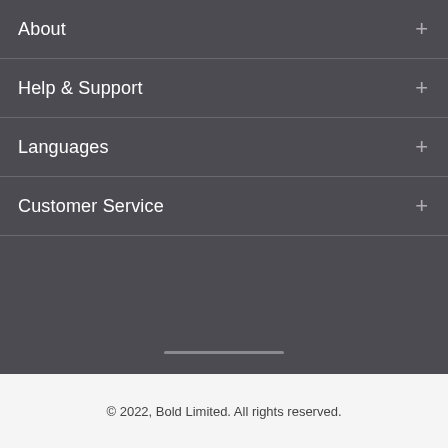About
Help & Support
Languages
Customer Service
© 2022, Bold Limited. All rights reserved.